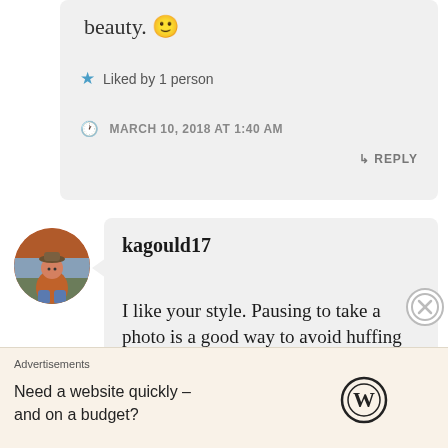beauty. 🙂
★ Liked by 1 person
MARCH 10, 2018 AT 1:40 AM
↳ REPLY
kagould17
I like your style. Pausing to take a photo is a good way to avoid huffing and
Advertisements
Need a website quickly – and on a budget?